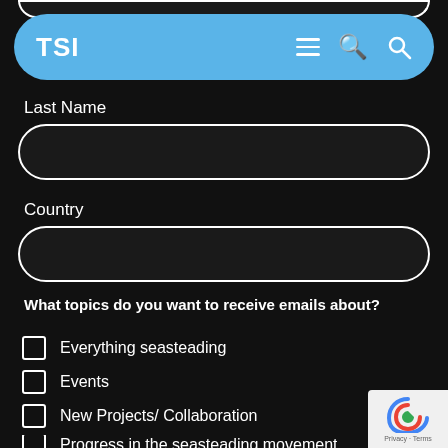[Figure (screenshot): Top partial input field (First Name field, cut off at top)]
First Name
[Figure (screenshot): Navigation bar with TSI logo (blue pill-shaped), hamburger menu icon, and search icon]
Last Name
[Figure (screenshot): Last Name input field (empty, rounded border)]
Country
[Figure (screenshot): Country input field (empty, rounded border)]
What topics do you want to receive emails about?
Everything seasteading
Events
New Projects/ Collaboration
Progress in the seasteading movement